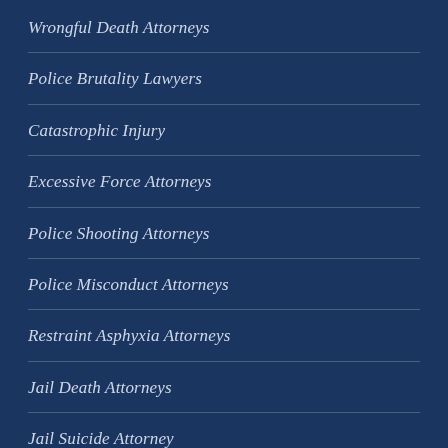Wrongful Death Attorneys
Police Brutality Lawyers
Catastrophic Injury
Excessive Force Attorneys
Police Shooting Attorneys
Police Misconduct Attorneys
Restraint Asphyxia Attorneys
Jail Death Attorneys
Jail Suicide Attorney